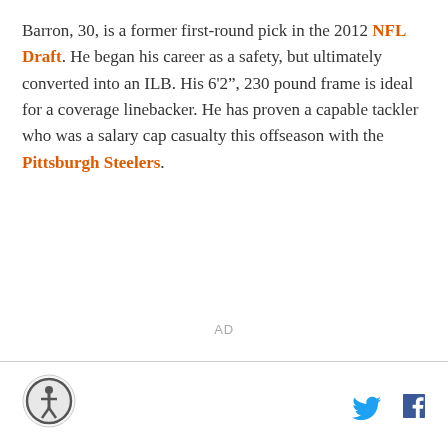Barron, 30, is a former first-round pick in the 2012 NFL Draft. He began his career as a safety, but ultimately converted into an ILB. His 6'2", 230 pound frame is ideal for a coverage linebacker. He has proven a capable tackler who was a salary cap casualty this offseason with the Pittsburgh Steelers.
AD
[Figure (logo): Circular sports site logo with athlete figure]